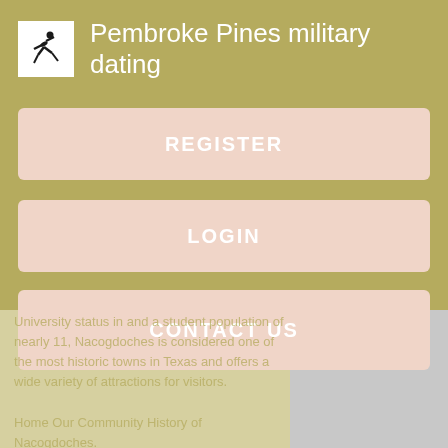Pembroke Pines military dating
REGISTER
LOGIN
CONTACT US
University status in and a student population of nearly 11, Nacogdoches is considered one of the most historic towns in Texas and offers a wide variety of attractions for visitors.
Home Our Community History of Nacogdoches.